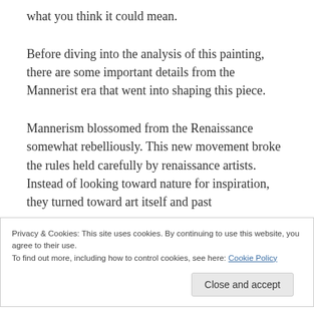what you think it could mean.
Before diving into the analysis of this painting, there are some important details from the Mannerist era that went into shaping this piece.
Mannerism blossomed from the Renaissance somewhat rebelliously. This new movement broke the rules held carefully by renaissance artists. Instead of looking toward nature for inspiration, they turned toward art itself and past
Privacy & Cookies: This site uses cookies. By continuing to use this website, you agree to their use.
To find out more, including how to control cookies, see here: Cookie Policy
Close and accept